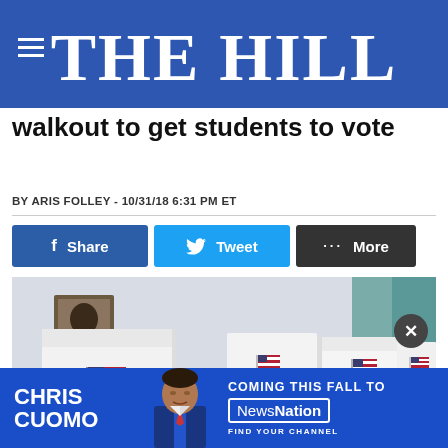THE HILL
walkout to get students to vote
BY ARIS FOLLEY - 10/31/18 6:31 PM ET
[Figure (screenshot): Three social sharing buttons: Facebook Share (blue), Twitter Tweet (light blue), More (dark gray)]
[Figure (photo): Voting booths with American flags and VOTE text in a polling location]
[Figure (infographic): Chris Cuomo advertisement: Coming this fall to NewsNation, Find Your Channel]